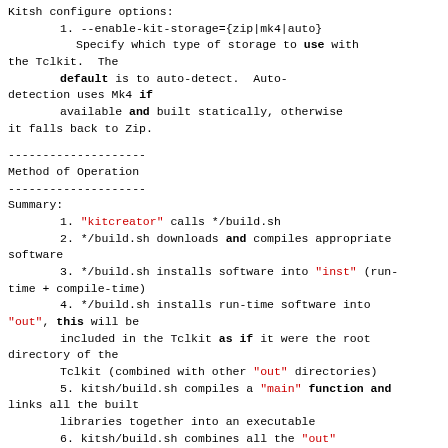Kitsh configure options:
1. --enable-kit-storage={zip|mk4|auto} Specify which type of storage to use with the Tclkit. The default is to auto-detect. Auto-detection uses Mk4 if available and built statically, otherwise it falls back to Zip.
--------------------
Method of Operation
--------------------
Summary:
1. "kitcreator" calls */build.sh
2. */build.sh downloads and compiles appropriate software
3. */build.sh installs software into "inst" (run-time + compile-time)
4. */build.sh installs run-time software into "out", this will be included in the Tclkit as if it were the root directory of the Tclkit (combined with other "out" directories)
5. kitsh/build.sh compiles a "main" function and links all the built libraries together into an executable
6. kitsh/build.sh combines all the "out" directories into one
7. kitsh/build.sh creates a Metakit or Zip database from the combined directories and appends that to the compiled executable using:
a. A Tclkit found in the environment